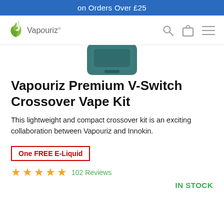on Orders Over £25
[Figure (logo): Vapouriz logo with green flame icon and brand name text]
[Figure (photo): Partial product image of Vapouriz Premium V-Switch Crossover Vape Kit in teal/dark green color]
Vapouriz Premium V-Switch Crossover Vape Kit
This lightweight and compact crossover kit is an exciting collaboration between Vapouriz and Innokin.
One FREE E-Liquid
★★★★★ 102 Reviews
IN STOCK